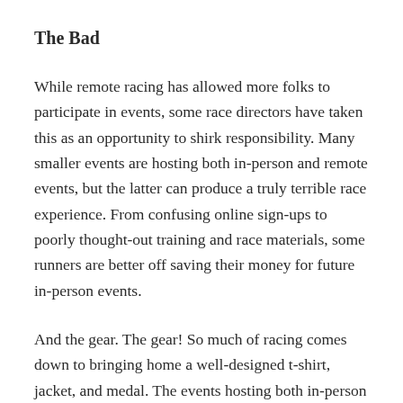The Bad
While remote racing has allowed more folks to participate in events, some race directors have taken this as an opportunity to shirk responsibility. Many smaller events are hosting both in-person and remote events, but the latter can produce a truly terrible race experience. From confusing online sign-ups to poorly thought-out training and race materials, some runners are better off saving their money for future in-person events.
And the gear. The gear! So much of racing comes down to bringing home a well-designed t-shirt, jacket, and medal. The events hosting both in-person and remote races have, overwhelmingly, done a bad job at distributing